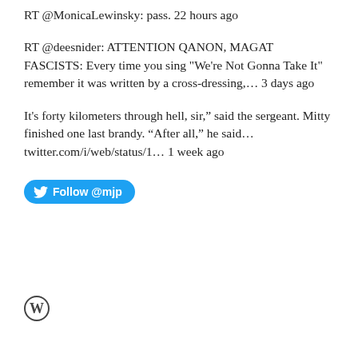RT @MonicaLewinsky: pass. 22 hours ago
RT @deesnider: ATTENTION QANON, MAGAT FASCISTS: Every time you sing "We're Not Gonna Take It" remember it was written by a cross-dressing,... 3 days ago
It’s forty kilometers through hell, sir,” said the sergeant. Mitty finished one last brandy. “After all,” he said… twitter.com/i/web/status/1… 1 week ago
[Figure (other): Blue Twitter Follow @mjp button with bird icon]
[Figure (logo): WordPress logo icon]